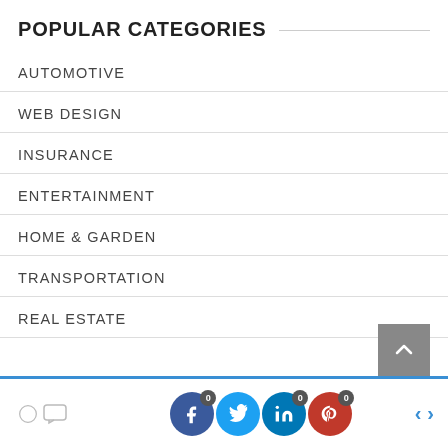POPULAR CATEGORIES
AUTOMOTIVE
WEB DESIGN
INSURANCE
ENTERTAINMENT
HOME & GARDEN
TRANSPORTATION
REAL ESTATE
0 comments | Facebook 0 | Twitter | LinkedIn 0 | Pinterest 0 | < >